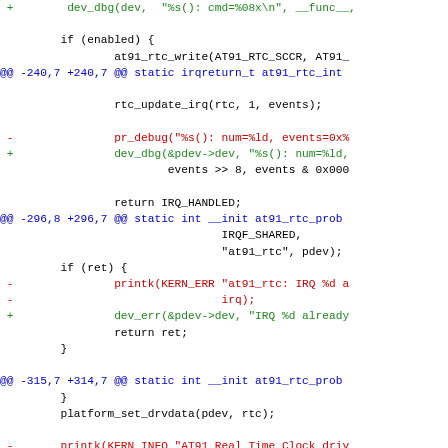code diff showing changes to at91_rtc driver: replacing pr_debug with dev_dbg, printk with dev_err/dev_info, with hunk headers showing line ranges -240,7 +240,7, -296,8 +296,7, -315,7 +314,7